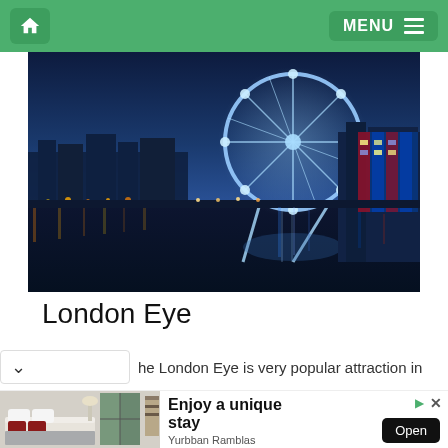Home | MENU
[Figure (photo): Nighttime panoramic photo of the London Eye Ferris wheel illuminated in blue and white, reflecting in the River Thames, with city lights along the embankment]
London Eye
The London Eye is very popular attraction in
[Figure (photo): Advertisement showing a hotel room with white bedding and dark red pillows — Yurbban Ramblas — Enjoy a unique stay — Open button]